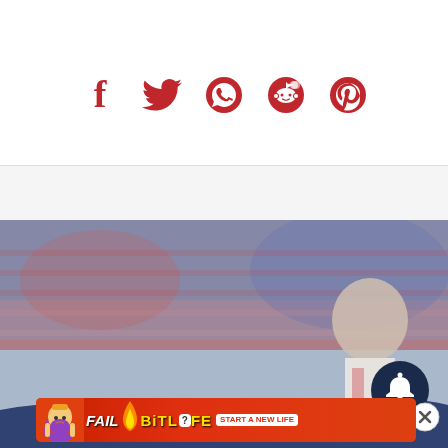[Figure (infographic): Social sharing icons: Facebook, Twitter, WhatsApp, Reddit, Pinterest — all in red on white background]
[Figure (photo): Advertisement placeholder white box area]
[Figure (photo): Sports photo showing a footballer in white kit with red details at a stadium with crowd in background; a dark notification bell button overlay and X close button visible; a wave graphic at bottom; a BitLife game advertisement banner at bottom]
[Figure (infographic): BitLife advertisement banner: FAIL character, fire, snake-and-egg logo, text START A NEW LIFE on red background]